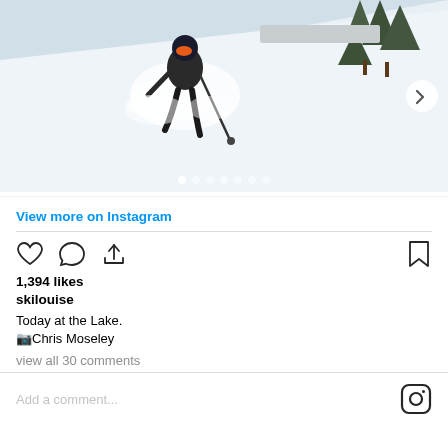[Figure (photo): A skier in dark gear skiing through deep powder snow on a steep slope, with snow-covered trees in the background. A next-arrow button is visible on the right side and carousel dots at the bottom.]
View more on Instagram
1,394 likes
skilouise
Today at the Lake.
📷Chris Moseley
view all 30 comments
Add a comment...